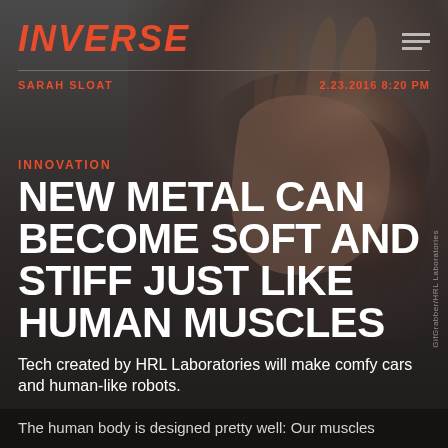INVERSE
SARAH SLOAT
2.23.2016 8:20 PM
[Figure (photo): Close-up photograph of a human hand against a dark background, showing the palm and fingers from a low angle, with warm brown skin tones against a dark grey background.]
INNOVATION
NEW METAL CAN BECOME SOFT AND STIFF JUST LIKE HUMAN MUSCLES
Tech created by HRL Laboratories will make comfy cars and human-like robots.
The human body is designed pretty well: Our muscles